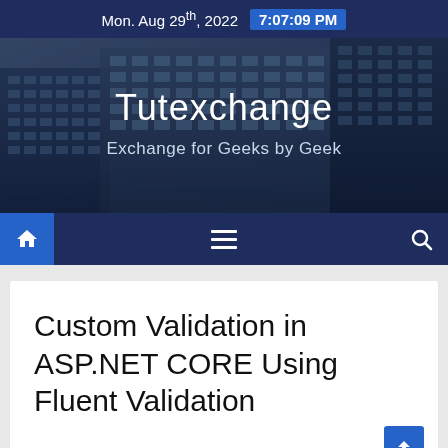Mon. Aug 29th, 2022  7:07:09 PM
[Figure (illustration): Tutexchange website banner with city building photo background, showing site title 'Tutexchange' and tagline 'Exchange for Geeks by Geek']
Custom Validation in ASP.NET CORE Using Fluent Validation